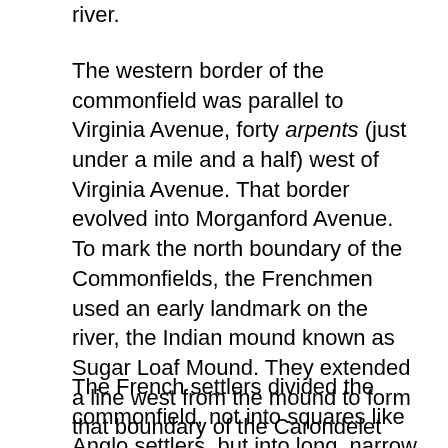river.
The western border of the commonfield was parallel to Virginia Avenue, forty arpents (just under a mile and a half) west of Virginia Avenue. That border evolved into Morganford Avenue. To mark the north boundary of the Commonfields, the Frenchmen used an early landmark on the river, the Indian mound known as Sugar Loaf Mound. They extended a line west from the mound to form that boundary of the Carondelet Commonfield. That line evolved into Meramec Street. Only the southern border of the Commonfields, roughly half a mile south of the district's southern boundary, did not evolve into an important street.
The French settlers divided the commonfield, not into squares like Anglo settlers, but into long, narrow strips stretching east-west. The practice would influence the